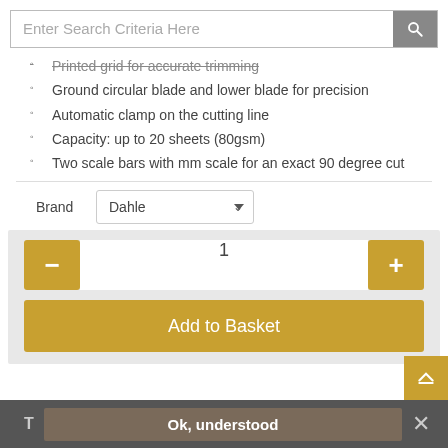Enter Search Criteria Here
Printed grid for accurate trimming
Ground circular blade and lower blade for precision
Automatic clamp on the cutting line
Capacity: up to 20 sheets (80gsm)
Two scale bars with mm scale for an exact 90 degree cut
Brand  Dahle
1  Add to Basket
Ok, understood